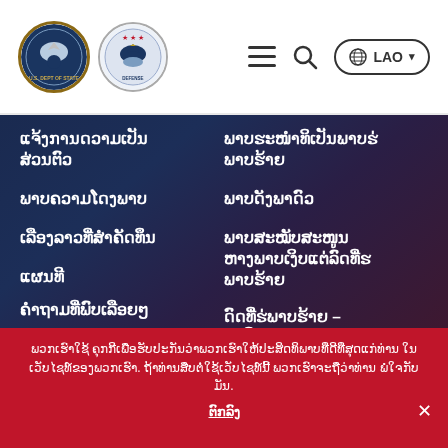US Government / Embassy header with logos, hamburger menu, search icon, and LAO language selector
ແຈ້ງການດວາມເປັນສ່ວນຕົວ
ພາບຄວາມໂດງພາບ
ເລືອງລາວທີ່ສໍາຄັດທຶນ
ແຜນທີ
ຄຳຖາມທີ່ພົບເລືອຍໆ
ທາງມາທາກທີກຕິດຕິລຕິ
ພາບຮະໜຳທິເປັນພາບຮ່ ພາບຮ້າຍ
ພາບດັງພາດົວ
ພາບສະໝັບສະໜູນ ຫາງພາບເງິບແຕ່ລົດທີ່ຮ ພາບຮ້າຍ
ດົດທີ່ຮ່ພາບຮ້າຍ – ນາລືນ
ພວກເຮົາໃຊ້ ຄຸກກີເພື່ອຮັບປະກັນວ່າພວກເຮົາໃຫ້ປະສິດທິພາບທີ່ດີທີ່ສຸດແກ່ທ່ານ ໃນ ເວັບໄຊທ໌ຂອງພວກເຮົາ. ຖ້າທ່ານສືບຕໍ່ໃຊ້ເວັບໄຊທ໌ນີ້ ພວກເຮົາຈະຖືວ່າທ່ານ ພໍໃຈກັບມັນ.
ຕົກລົງ